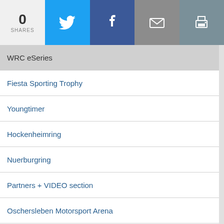0 SHARES
WRC eSeries
Fiesta Sporting Trophy
Youngtimer
Hockenheimring
Nuerburgring
Partners + VIDEO section
Oschersleben Motorsport Arena
FIA News
ADAC Stiftung Sport
Racing
L.M.W.A.
BLOGS
Archiv
F1H2o
UIM Series
UAE Powerboats-Motosurf
AquaX a.o -IWWF Wakeboard